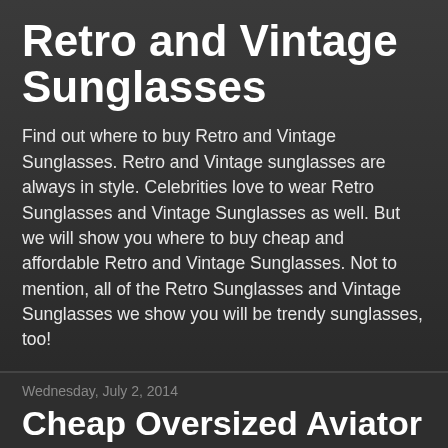Retro and Vintage Sunglasses
Find out where to buy Retro and Vintage Sunglasses. Retro and Vintage sunglasses are always in style. Celebrities love to wear Retro Sunglasses and Vintage Sunglasses as well. But we will show you where to buy cheap and affordable Retro and Vintage Sunglasses. Not to mention, all of the Retro Sunglasses and Vintage Sunglasses we show you will be trendy sunglasses, too!
Wednesday, July 2, 2014
Cheap Oversized Aviator Sunglasses
[Figure (photo): Broken/missing image placeholder labeled: Cheap Oversized Aviator Sunglasses]
Soon, I heard more voices coming from our suite. Now it